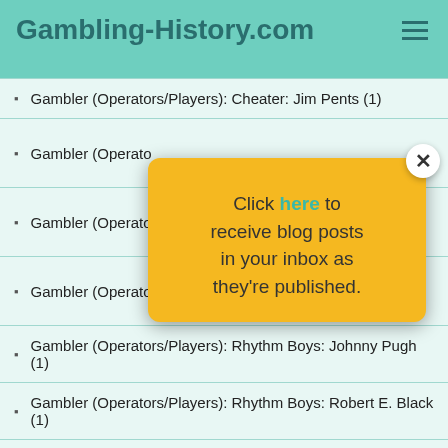Gambling-History.com
Gambler (Operators/Players): Cheater: Jim Pents (1)
Gambler (Operators/Players): [partially hidden by popup]
Gambler (Operators/Players): [partially hidden]: Harmony Kid (2)
Gambler (Operators/Players): [partially hidden]s: Danny Foster (1)
Gambler (Operators/Players): Rhythm Boys: Johnny Pugh (1)
Gambler (Operators/Players): Rhythm Boys: Robert E. Black (1)
Gamblers: Card Counters: Kenneth "Ken" S. Ulston (1)
[Figure (infographic): Popup overlay: yellow box with close button (X), text reading 'Click here to receive blog posts in your inbox as they're published.' with 'here' highlighted in teal. Social media icon circles visible at bottom right.]